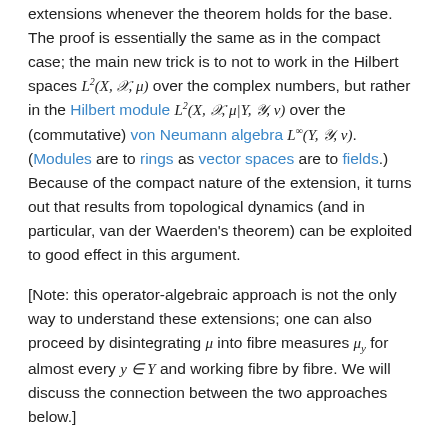extensions whenever the theorem holds for the base. The proof is essentially the same as in the compact case; the main new trick is to not to work in the Hilbert spaces L²(X, 𝒳, μ) over the complex numbers, but rather in the Hilbert module L²(X, 𝒳, μ|Y, 𝒴, ν) over the (commutative) von Neumann algebra L∞(Y, 𝒴, ν). (Modules are to rings as vector spaces are to fields.) Because of the compact nature of the extension, it turns out that results from topological dynamics (and in particular, van der Waerden's theorem) can be exploited to good effect in this argument.
[Note: this operator-algebraic approach is not the only way to understand these extensions; one can also proceed by disintegrating μ into fibre measures μ_y for almost every y ∈ Y and working fibre by fibre. We will discuss the connection between the two approaches below.]
Continue reading